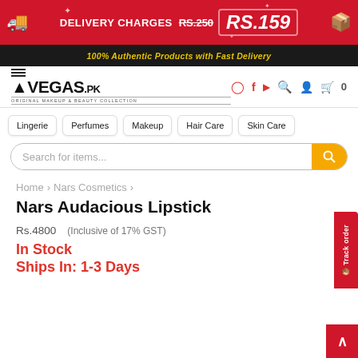DELIVERY CHARGES RS.250 RS.159
100% Authentic Products with Fast Delivery
[Figure (logo): VEGAS.PK logo - Original Makeup & Beauty Collection]
Lingerie
Perfumes
Makeup
Hair Care
Skin Care
Search for items...
Home › Nars Cosmetics ›
Nars Audacious Lipstick
Rs.4800  (Inclusive of 17% GST)
In Stock
Ships In: 1-3 Days